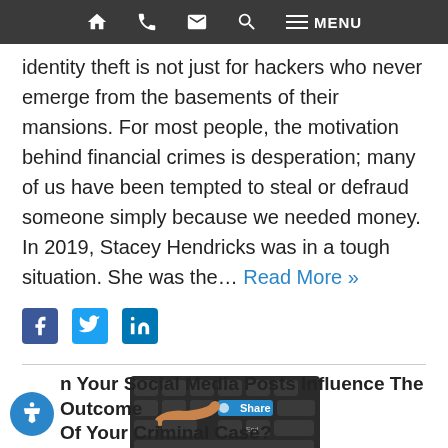Navigation bar with home, phone, email, search, and menu icons
identity theft is not just for hackers who never emerge from the basements of their mansions. For most people, the motivation behind financial crimes is desperation; many of us have been tempted to steal or defraud someone simply because we needed money. In 2019, Stacey Hendricks was in a tough situation. She was the... Read More »
[Figure (infographic): Facebook, Twitter, and LinkedIn social sharing icons]
[Figure (photo): Close-up photo of a finger pressing a blue 'Share' key on a keyboard]
n Your Social Media Posts Influence The Outcome Of Your Criminal Case?